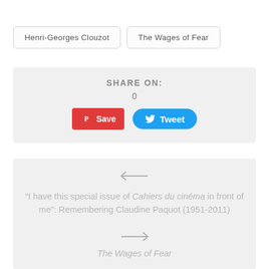Henri-Georges Clouzot
The Wages of Fear
SHARE ON:
0
Save
Tweet
“I have this special issue of Cahiers du cinéma in front of me”: Remembering Claudine Paquot (1951-2011)
The Wages of Fear